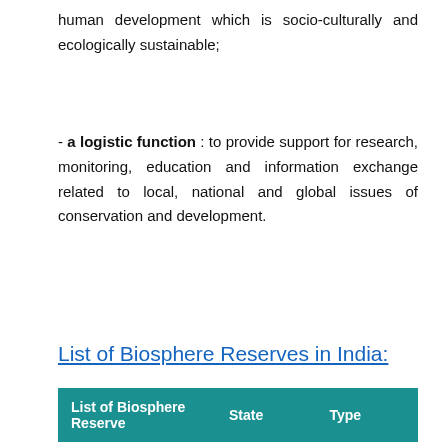human development which is socio-culturally and ecologically sustainable;
- a logistic function : to provide support for research, monitoring, education and information exchange related to local, national and global issues of conservation and development.
List of Biosphere Reserves in India:
| List of Biosphere Reserve | State | Type |
| --- | --- | --- |
[Figure (screenshot): CVS Pharmacy advertisement: Shop A Variety Of High Quality Photo Products At CVS® Today.]